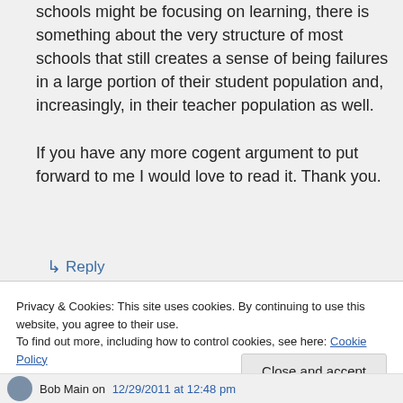schools might be focusing on learning, there is something about the very structure of most schools that still creates a sense of being failures in a large portion of their student population and, increasingly, in their teacher population as well.

If you have any more cogent argument to put forward to me I would love to read it. Thank you.
↳ Reply
Privacy & Cookies: This site uses cookies. By continuing to use this website, you agree to their use.
To find out more, including how to control cookies, see here: Cookie Policy
Close and accept
Bob Main on 12/29/2011 at 12:48 pm